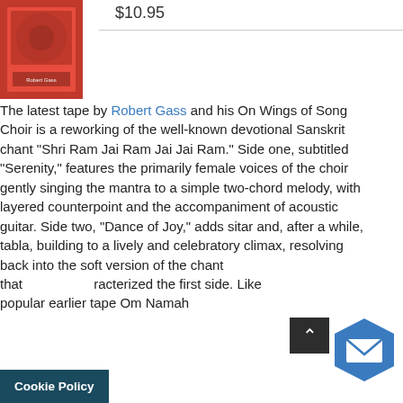[Figure (photo): Red book cover thumbnail on the left side]
$10.95
The latest tape by Robert Gass and his On Wings of Song Choir is a reworking of the well-known devotional Sanskrit chant "Shri Ram Jai Ram Jai Jai Ram." Side one, subtitled "Serenity," features the primarily female voices of the choir gently singing the mantra to a simple two-chord melody, with layered counterpoint and the accompaniment of acoustic guitar. Side two, "Dance of Joy," adds sitar and, after a while, tabla, building to a lively and celebratory climax, resolving back into the soft version of the chant that racterized the first side. Like popular earlier tape Om Namah
Cookie Policy